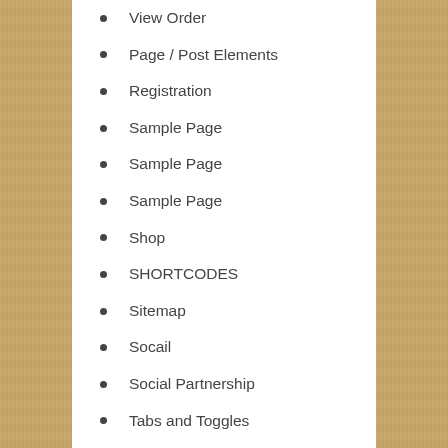View Order
Page / Post Elements
Registration
Sample Page
Sample Page
Sample Page
Shop
SHORTCODES
Sitemap
Socail
Social Partnership
Tabs and Toggles
Tags
Team Members (partial)